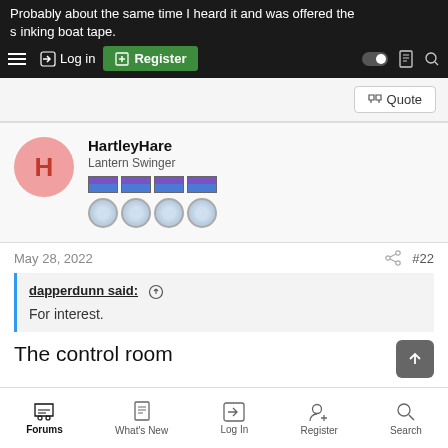Probably about the same time I heard it and was offered the sinking boat tape.
Log in | Register
Quote
HartleyHare
Lantern Swinger
May 28, 2022  #22
dapperdunn said: ↑
For interest.
The control room
Forums  What's New  Log In  Register  Search